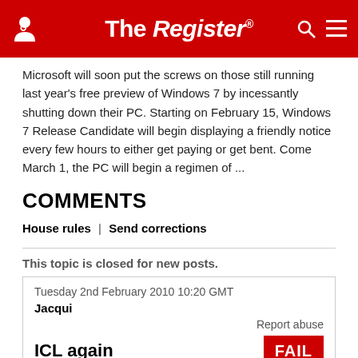The Register
Microsoft will soon put the screws on those still running last year's free preview of Windows 7 by incessantly shutting down their PC. Starting on February 15, Windows 7 Release Candidate will begin displaying a friendly notice every few hours to either get paying or get bent. Come March 1, the PC will begin a regimen of ...
COMMENTS
House rules | Send corrections
This topic is closed for new posts.
Tuesday 2nd February 2010 10:20 GMT
Jacqui
Report abuse
ICL again
ICL removed a mainframe with council data when